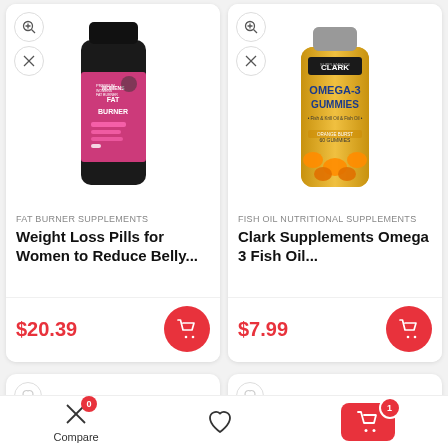[Figure (photo): Black Women's Fat Burner supplement bottle with pink label]
FAT BURNER SUPPLEMENTS
Weight Loss Pills for Women to Reduce Belly...
$20.39
[Figure (photo): Clark Supplements Omega-3 Gummies yellow bottle]
FISH OIL NUTRITIONAL SUPPLEMENTS
Clark Supplements Omega 3 Fish Oil...
$7.99
[Figure (photo): Green resistance band (APOAK brand) with colorful smaller bands]
[Figure (photo): Purple resistance band partially visible]
Compare
0
1